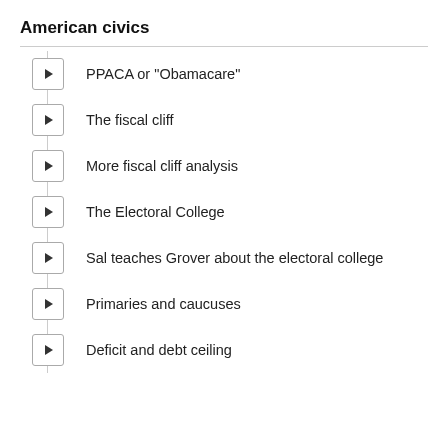American civics
PPACA or "Obamacare"
The fiscal cliff
More fiscal cliff analysis
The Electoral College
Sal teaches Grover about the electoral college
Primaries and caucuses
Deficit and debt ceiling